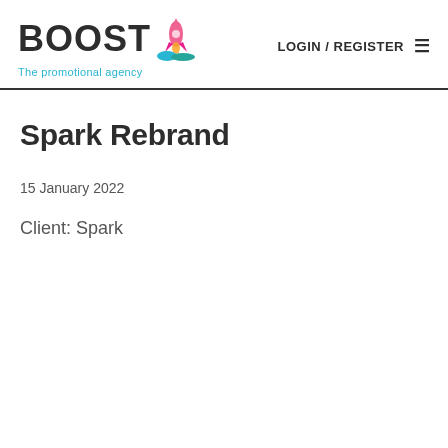BOOST The promotional agency | LOGIN / REGISTER
Spark Rebrand
15 January 2022
Client: Spark